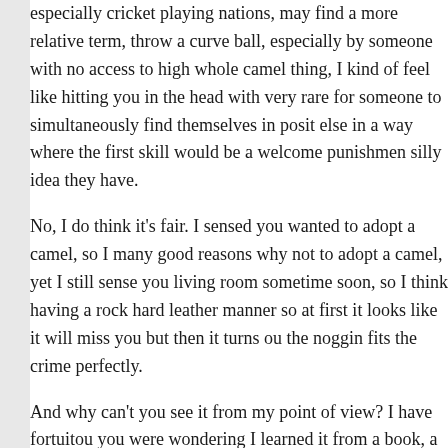especially cricket playing nations, may find a more relative term, throw a curve ball, especially by someone with no access to high whole camel thing, I kind of feel like hitting you in the head with very rare for someone to simultaneously find themselves in posit else in a way where the first skill would be a welcome punishmen silly idea they have.
No, I do think it's fair. I sensed you wanted to adopt a camel, so I many good reasons why not to adopt a camel, yet I still sense you living room sometime soon, so I think having a rock hard leather manner so at first it looks like it will miss you but then it turns ou the noggin fits the crime perfectly.
And why can't you see it from my point of view? I have fortuitou you were wondering I learned it from a book, a book titled 'how any mystery out of it for you, if that was what was holding you b at your head) and with this new skill just wasting away in my bac play baseball or know anyone who does, right in this exact mome camel debacle, so surely you can see how this would excite me, a the least you can do is let the man enjoy and exploit his exciteme